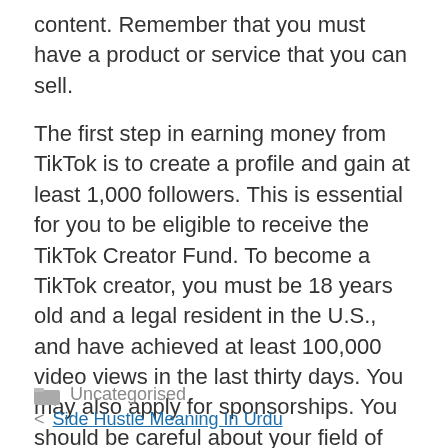content. Remember that you must have a product or service that you can sell.
The first step in earning money from TikTok is to create a profile and gain at least 1,000 followers. This is essential for you to be eligible to receive the TikTok Creator Fund. To become a TikTok creator, you must be 18 years old and a legal resident in the U.S., and have achieved at least 100,000 video views in the last thirty days. You may also apply for sponsorships. You should be careful about your field of expertise as the rewards cannot be compared to your regular salary.
Uncategorised
< Side Hustle Meaning In Urdu